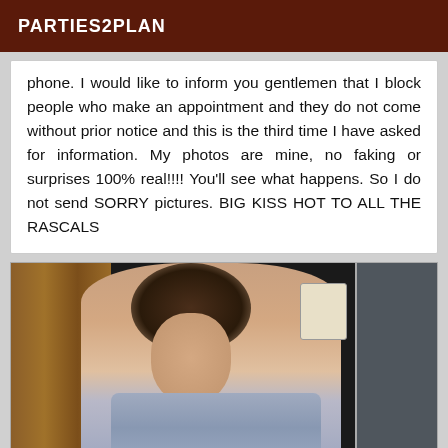PARTIES2PLAN
phone. I would like to inform you gentlemen that I block people who make an appointment and they do not come without prior notice and this is the third time I have asked for information. My photos are mine, no faking or surprises 100% real!!!! You'll see what happens. So I do not send SORRY pictures. BIG KISS HOT TO ALL THE RASCALS
[Figure (photo): Woman wrapped in a blue towel standing in a bathroom near a wooden door and glass shower enclosure, with a wall-mounted phone visible in the background.]